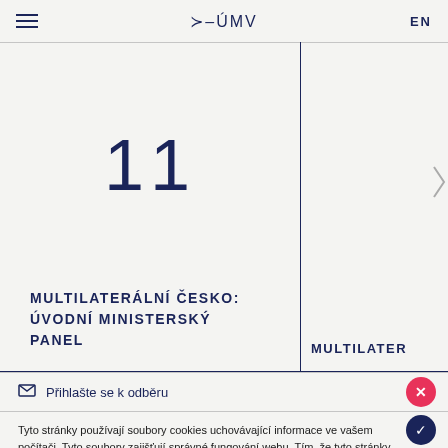≻–ÚMV | EN
11
MULTILATERÁLNÍ ČESKO: ÚVODNÍ MINISTERSKÝ PANEL
MULTILATER
✉ Přihlašte se k odběru
Tyto stránky používají soubory cookies uchovávající informace ve vašem počítači. Tyto soubory zajišťují správné fungování webu. Tím, že tyto stránky dále používáte dáváte svůj souhlas s použitím cookies.